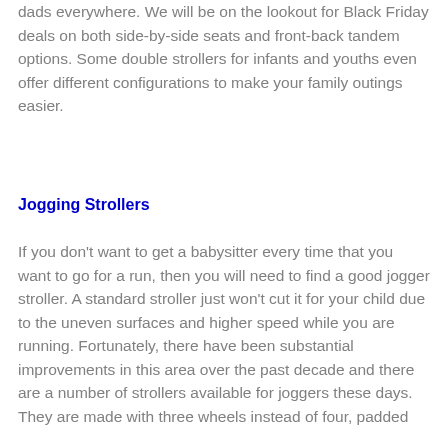dads everywhere. We will be on the lookout for Black Friday deals on both side-by-side seats and front-back tandem options. Some double strollers for infants and youths even offer different configurations to make your family outings easier.
Jogging Strollers
If you don't want to get a babysitter every time that you want to go for a run, then you will need to find a good jogger stroller. A standard stroller just won't cut it for your child due to the uneven surfaces and higher speed while you are running. Fortunately, there have been substantial improvements in this area over the past decade and there are a number of strollers available for joggers these days. They are made with three wheels instead of four, padded